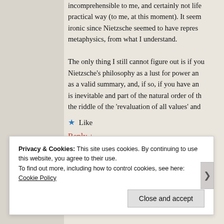incomprehensible to me, and certainly not life practical way (to me, at this moment). It seems ironic since Nietzsche seemed to have represented metaphysics, from what I understand. The only thing I still cannot figure out is if you consider Nietzsche's philosophy as a lust for power and as a valid summary, and, if so, if you have an is inevitable and part of the natural order of the riddle of the 'revaluation of all values' and
★ Like
Reply ↓
Privacy & Cookies: This site uses cookies. By continuing to use this website, you agree to their use. To find out more, including how to control cookies, see here: Cookie Policy
Close and accept